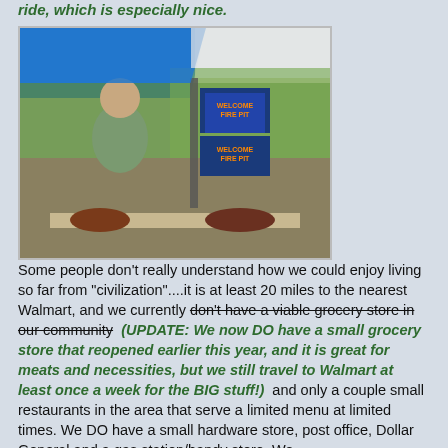ride, which is especially nice.
[Figure (photo): Man standing at outdoor market/craft fair booth with decorative signs including 'Welcome Fire Pit' signs, under a blue tent canopy.]
Some people don't really understand how we could enjoy living so far from "civilization"....it is at least 20 miles to the nearest Walmart, and we currently don't have a viable grocery store in our community (UPDATE: We now DO have a small grocery store that reopened earlier this year, and it is great for meats and necessities, but we still travel to Walmart at least once a week for the BIG stuff!) and only a couple small restaurants in the area that serve a limited menu at limited times. We DO have a small hardware store, post office, Dollar General and a gas station/handy store. We